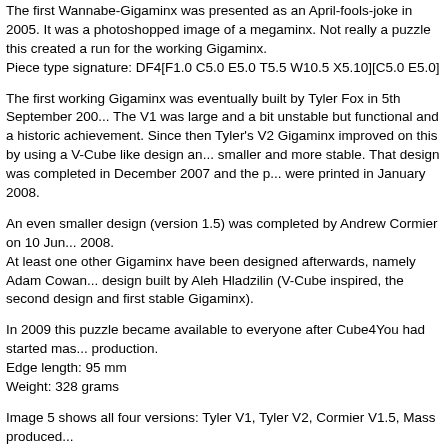The first Wannabe-Gigaminx was presented as an April-fools-joke in 2005. It was a photoshopped image of a megaminx. Not really a puzzle this created a run for the working Gigaminx.
Piece type signature: DF4[F1.0 C5.0 E5.0 T5.5 W10.5 X5.10][C5.0 E5.0]
The first working Gigaminx was eventually built by Tyler Fox in 5th September 200... The V1 was large and a bit unstable but functional and a historic achievement. Since then Tyler's V2 Gigaminx improved on this by using a V-Cube like design an... smaller and more stable. That design was completed in December 2007 and the p... were printed in January 2008.
An even smaller design (version 1.5) was completed by Andrew Cormier on 10 Jun... 2008.
At least one other Gigaminx have been designed afterwards, namely Adam Cowan... design built by Aleh Hladzilin (V-Cube inspired, the second design and first stable Gigaminx).
In 2009 this puzzle became available to everyone after Cube4You had started mas... production.
Edge length: 95 mm
Weight: 328 grams
Image 5 shows all four versions: Tyler V1, Tyler V2, Cormier V1.5, Mass produced...
Other producers followed with their versions as the one from Mf8 shown in image 7... First it was sold in its own package. Later another package followed that was used... four different dodecahedral puzzles: Gigaminx, Master Kilominx, Helicopter Dodecahedron and Dino Dodecahedron (under its misleading name: Starminx)
PRICE TRACKING DATA
DISCLAIMER: The following table contains user-generated content. This informa...